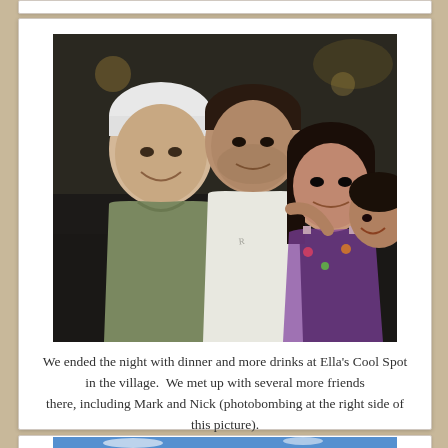[Figure (photo): Group photo of four people smiling indoors at Ella's Cool Spot. An older man with white hair in an olive/green shirt is on the left, a man in a white t-shirt in the center, a woman with dark hair in a floral top, and a fourth person partially visible on the right edge photobombing.]
We ended the night with dinner and more drinks at Ella's Cool Spot in the village.  We met up with several more friends there, including Mark and Nick (photobombing at the right side of this picture).
[Figure (photo): Outdoor photo showing a small propeller aircraft (white with red markings) on a grassy airfield under a blue sky. A person is visible in front of the plane.]